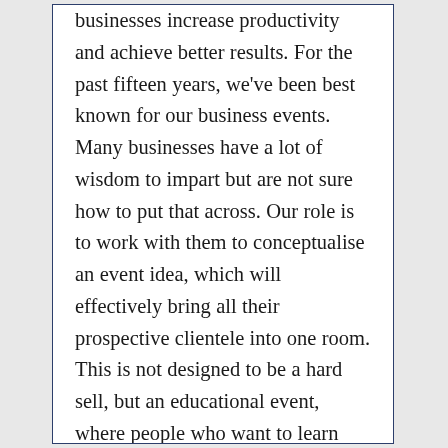businesses increase productivity and achieve better results. For the past fifteen years, we've been best known for our business events. Many businesses have a lot of wisdom to impart but are not sure how to put that across. Our role is to work with them to conceptualise an event idea, which will effectively bring all their prospective clientele into one room. This is not designed to be a hard sell, but an educational event, where people who want to learn more can access the expert advice they require. Once they meet in person, it builds